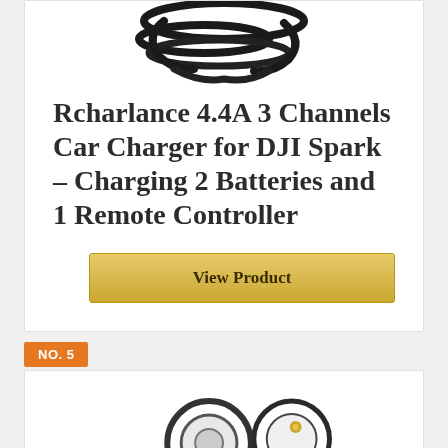[Figure (photo): Partial photo of a black cable charger product visible at the top of the card]
Rcharlance 4.4A 3 Channels Car Charger for DJI Spark – Charging 2 Batteries and 1 Remote Controller
View Product
NO. 5
[Figure (photo): Partial photo of drone accessories / charging hub product at the bottom of the page]